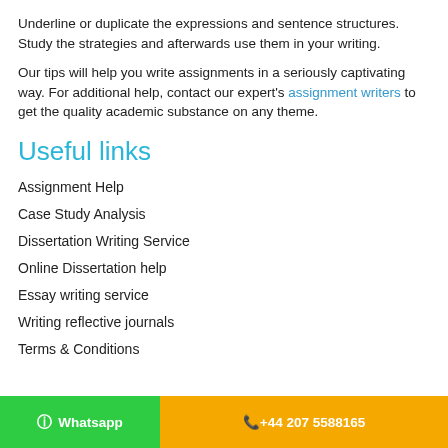Underline or duplicate the expressions and sentence structures. Study the strategies and afterwards use them in your writing.
Our tips will help you write assignments in a seriously captivating way. For additional help, contact our expert's assignment writers to get the quality academic substance on any theme.
Useful links
Assignment Help
Case Study Analysis
Dissertation Writing Service
Online Dissertation help
Essay writing service
Writing reflective journals
Terms & Conditions
Whatsapp  +44 207 5588165